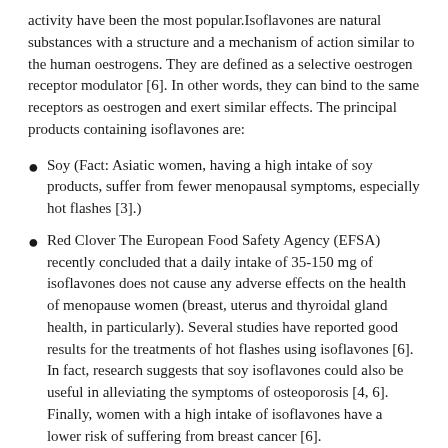activity have been the most popular.Isoflavones are natural substances with a structure and a mechanism of action similar to the human oestrogens. They are defined as a selective oestrogen receptor modulator [6]. In other words, they can bind to the same receptors as oestrogen and exert similar effects. The principal products containing isoflavones are:
Soy (Fact: Asiatic women, having a high intake of soy products, suffer from fewer menopausal symptoms, especially hot flashes [3].)
Red Clover The European Food Safety Agency (EFSA) recently concluded that a daily intake of 35-150 mg of isoflavones does not cause any adverse effects on the health of menopause women (breast, uterus and thyroidal gland health, in particularly). Several studies have reported good results for the treatments of hot flashes using isoflavones [6]. In fact, research suggests that soy isoflavones could also be useful in alleviating the symptoms of osteoporosis [4, 6]. Finally, women with a high intake of isoflavones have a lower risk of suffering from breast cancer [6].
Additionally, there are some studies that seek to investigate the